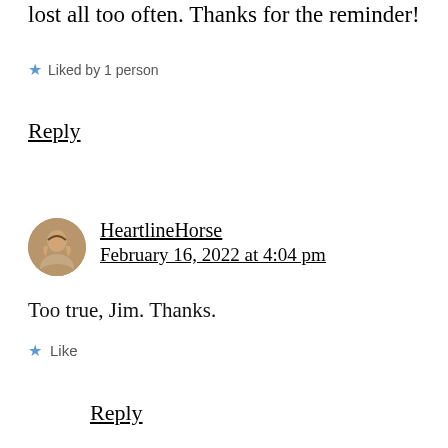lost all too often. Thanks for the reminder!
★ Liked by 1 person
Reply
HeartlineHorse
February 16, 2022 at 4:04 pm
Too true, Jim. Thanks.
★ Like
Reply